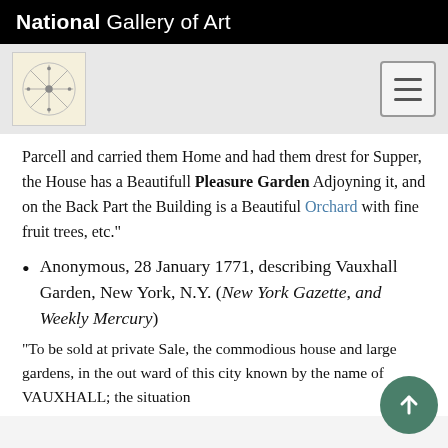National Gallery of Art
Parcell and carried them Home and had them drest for Supper, the House has a Beautifull Pleasure Garden Adjoyning it, and on the Back Part the Building is a Beautiful Orchard with fine fruit trees, etc."
Anonymous, 28 January 1771, describing Vauxhall Garden, New York, N.Y. (New York Gazette, and Weekly Mercury)
"To be sold at private Sale, the commodious house and large gardens, in the out ward of this city known by the name of VAUXHALL; the situation